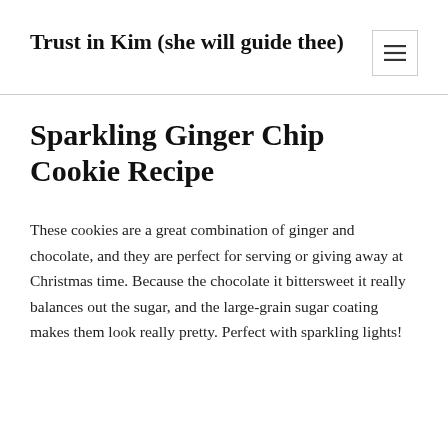Trust in Kim (she will guide thee)
Sparkling Ginger Chip Cookie Recipe
These cookies are a great combination of ginger and chocolate, and they are perfect for serving or giving away at Christmas time. Because the chocolate it bittersweet it really balances out the sugar, and the large-grain sugar coating makes them look really pretty. Perfect with sparkling lights!